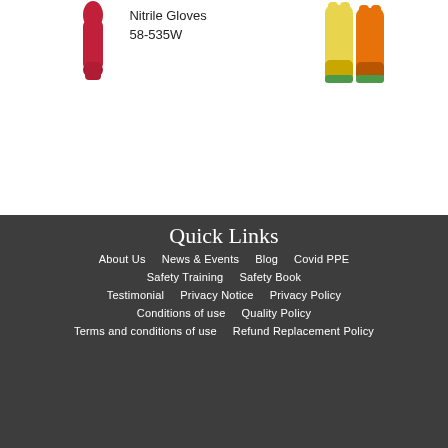[Figure (photo): Red glove product image on left side]
Nitrile Gloves
58-535W
[Figure (photo): Yellow and orange glove product image on right side]
Quick Links
About Us
News & Events
Blog
Covid PPE
Safety Training
Safety Book
Testimonial
Privacy Notice
Privacy Policy
Conditions of use
Quality Policy
Terms and conditions of use
Refund Replacement Policy